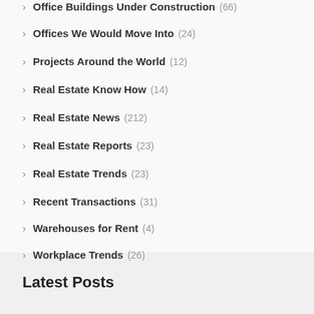Office Buildings Under Construction (66)
Offices We Would Move Into (24)
Projects Around the World (12)
Real Estate Know How (14)
Real Estate News (212)
Real Estate Reports (23)
Real Estate Trends (23)
Recent Transactions (31)
Warehouses for Rent (4)
Workplace Trends (26)
Latest Posts